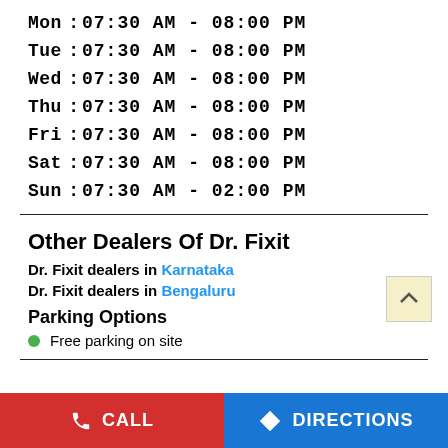Mon : 07:30 AM - 08:00 PM
Tue : 07:30 AM - 08:00 PM
Wed : 07:30 AM - 08:00 PM
Thu : 07:30 AM - 08:00 PM
Fri : 07:30 AM - 08:00 PM
Sat : 07:30 AM - 08:00 PM
Sun : 07:30 AM - 02:00 PM
Other Dealers Of Dr. Fixit
Dr. Fixit dealers in Karnataka
Dr. Fixit dealers in Bengaluru
Parking Options
Free parking on site
CALL   DIRECTIONS